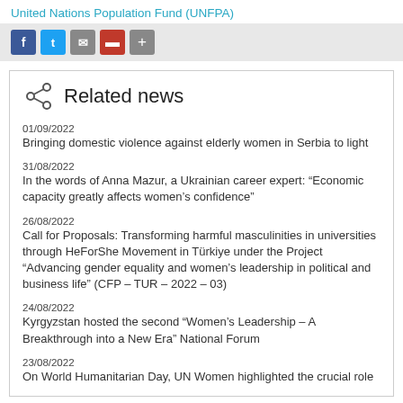United Nations Population Fund (UNFPA)
Related news
01/09/2022
Bringing domestic violence against elderly women in Serbia to light
31/08/2022
In the words of Anna Mazur, a Ukrainian career expert: “Economic capacity greatly affects women’s confidence”
26/08/2022
Call for Proposals: Transforming harmful masculinities in universities through HeForShe Movement in Türkiye under the Project “Advancing gender equality and women’s leadership in political and business life” (CFP – TUR – 2022 – 03)
24/08/2022
Kyrgyzstan hosted the second “Women’s Leadership – A Breakthrough into a New Era” National Forum
23/08/2022
On World Humanitarian Day, UN Women highlighted the crucial role of…